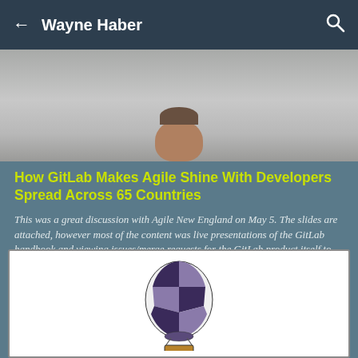← Wayne Haber 🔍
[Figure (photo): Partial photo showing a person's head/face from above, cropped at bottom of image area]
How GitLab Makes Agile Shine With Developers Spread Across 65 Countries
This was a great discussion with Agile New England on May 5. The slides are attached, however most of the content was live presentations of the GitLab handbook and viewing issues/merge requests for the GitLab product itself to show examples. Topic...
[Figure (photo): Partial view of a hot air balloon illustration or photo in black and purple stripes on white background]